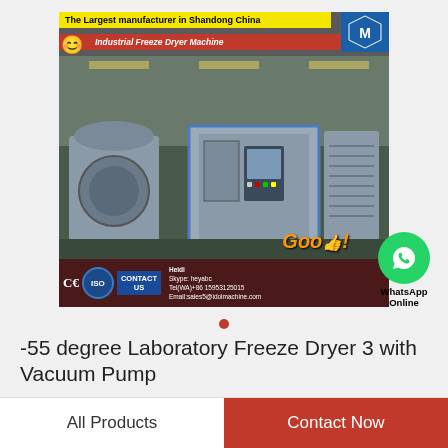[Figure (photo): Industrial Freeze Dryer Machine photo with banners: 'The Largest manufacturer in Shandong China', 'Industrial Freeze Dryer Machine', CE/ISO certifications, contact info for Heidi, WhatsApp Online badge, and Good! overlay]
-55 degree Laboratory Freeze Dryer 3 with Vacuum Pump
All Products
Contact Now